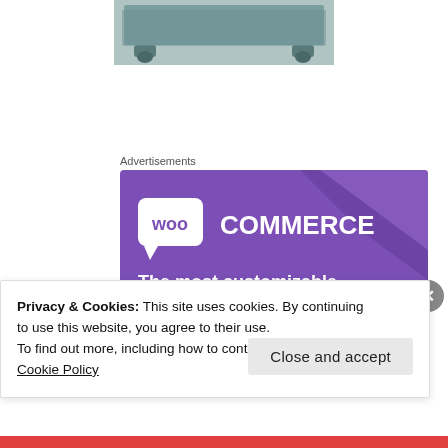[Figure (photo): Photo of a dark teal/green wooden furniture piece (low table or bench) with ball feet, cropped to show just the top portion]
Advertisements
[Figure (screenshot): WooCommerce advertisement banner with purple background showing WooCommerce logo and text 'The most customizable eCommerce platform' with a shopping cart icon]
Privacy & Cookies: This site uses cookies. By continuing to use this website, you agree to their use.
To find out more, including how to control cookies, see here:
Cookie Policy
Close and accept